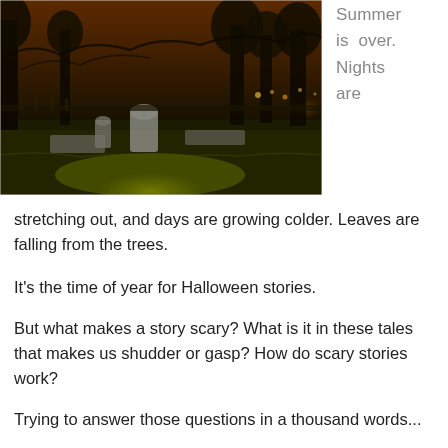[Figure (photo): Dark nighttime photo of a graveyard/cemetery with tombstones, a glowing patch of green grass, bare trees silhouetted against an orange-tinted night sky]
Summer is over. Nights are
stretching out, and days are growing colder. Leaves are falling from the trees.
It's the time of year for Halloween stories.
But what makes a story scary? What is it in these tales that makes us shudder or gasp? How do scary stories work?
Trying to answer those questions in a thousand words...